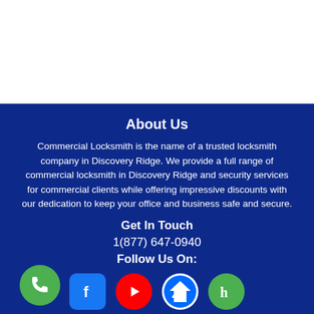About Us
Commercial Locksmith is the name of a trusted locksmith company in Discovery Ridge. We provide a full range of commercial locksmith in Discovery Ridge and security services for commercial clients while offering impressive discounts with our dedication to keep your office and business safe and secure.
Get In Touch
1(877) 647-0940
Follow Us On:
[Figure (logo): Social media icons: Facebook, YouTube, Zillow, Houzz]
[Figure (logo): Green phone call floating action button]